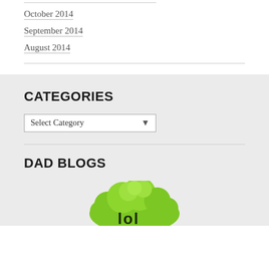October 2014
September 2014
August 2014
CATEGORIES
Select Category
DAD BLOGS
[Figure (logo): Green bumpy logo with letters 'lol' visible at bottom]